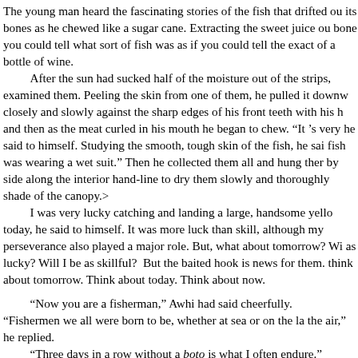The young man heard the fascinating stories of the fish that drifted out its bones as he chewed like a sugar cane. Extracting the sweet juice out bone you could tell what sort of fish was as if you could tell the exact of a bottle of wine.

After the sun had sucked half of the moisture out of the strips, examined them. Peeling the skin from one of them, he pulled it downw closely and slowly against the sharp edges of his front teeth with his h and then as the meat curled in his mouth he began to chew. “It ’s very he said to himself. Studying the smooth, tough skin of the fish, he sai fish was wearing a wet suit.” Then he collected them all and hung ther by side along the interior hand-line to dry them slowly and thoroughly shade of the canopy.>

I was very lucky catching and landing a large, handsome yell today, he said to himself. It was more luck than skill, although my perseverance also played a major role. But, what about tomorrow? Wi as lucky? Will I be as skillful? But the baited hook is news for them. think about tomorrow. Think about today. Think about now.

“Now you are a fisherman,” Awhi had said cheerfully.
“Fishermen we all were born to be, whether at sea or on the la the air,” he replied.
“Three days in a row without a boto is what I often endure.”
“That makes us equals then.”